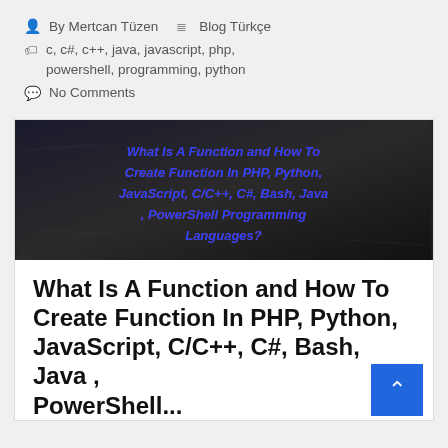By Mertcan Tüzen   Blog Türkçe
c, c#, c++, java, javascript, php, powershell, programming, python
No Comments
[Figure (illustration): Dark chalkboard background image with italic bold text in blue with red outline: 'What Is A Function and How To Create Function In PHP, Python, JavaScript, C/C++, C#, Bash, Java, PowerShell Programming Languages?']
What Is A Function and How To Create Function In PHP, Python, JavaScript, C/C++, C#, Bash, Java , PowerShell...